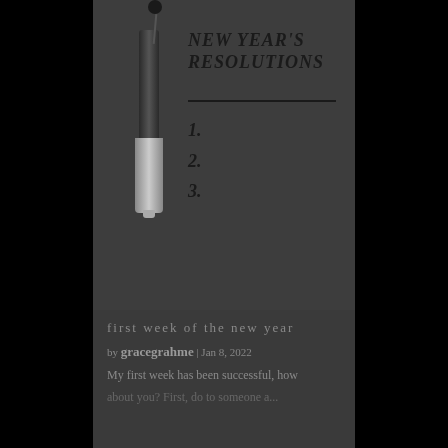[Figure (photo): Dark background image showing a marker/pen hanging from a pin/hook, with a New Year's Resolutions notepad showing numbered lines 1, 2, 3]
NEW YEAR'S RESOLUTIONS
1.
2.
3.
first week of the new year
by gracegrahme | Jan 8, 2022
My first week has been successful, how about you? First, do to someone a...